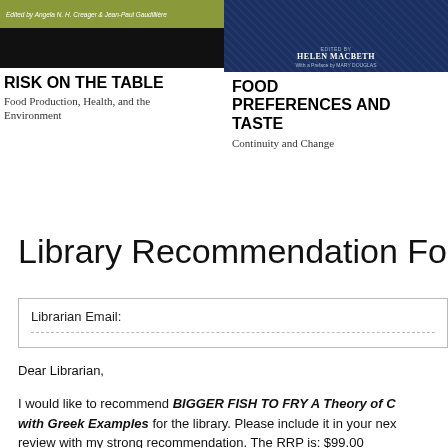[Figure (photo): Book cover: Risk on the Table — olive green top strip with editor names, black bottom strip]
[Figure (photo): Book cover: Food Preferences and Taste — dark blue cover with author Helen Macbeth and preface by Mary Douglas, textured background]
RISK ON THE TABLE
Food Production, Health, and the Environment
FOOD PREFERENCES AND TASTE
Continuity and Change
Library Recommendation Form
Librarian Email:
Dear Librarian,
I would like to recommend BIGGER FISH TO FRY A Theory of C... with Greek Examples for the library. Please include it in your nex... review with my strong recommendation. The RRP is: $99.00